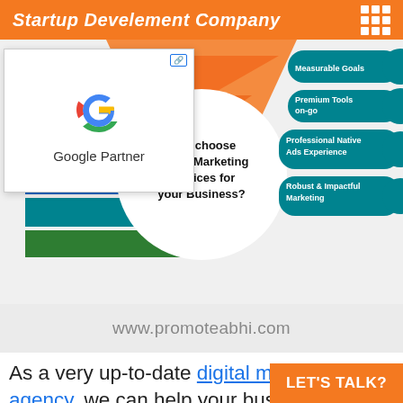Startup Develement Company
[Figure (infographic): Colorful infographic titled 'Why choose Digital Marketing Services for your Business?' with colored bands listing: Cost-Efficient, Experienced Experts on the left; Measurable Goals, Premium Tools on-go, Professional Native Ads Experience, Robust & Impactful Marketing on the right. Google Partner badge popup overlay. URL: www.promoteabhi.com at bottom.]
As a very up-to-date digital marketing agency, we can help your business reach its target audience, on mobile, desktop and a range of other devices. We always focus on customer needs which helps us to serve every business in the best possible way. Connect with us for strategic digital marketing services including website design, SEO, optimize